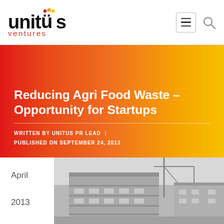[Figure (logo): Unitus Ventures logo — 'unitüs' in bold black with red dots accent, 'ventures' in red below]
Reducing Agri Food Waste – Opportunity for Startups
WRITTEN BY UNITUS PR LEAD | PUBLISHED ON SEPTEMBER 24, 2013
April
2013
[Figure (photo): Black and white photo of a modern building with construction scaffolding and cranes]